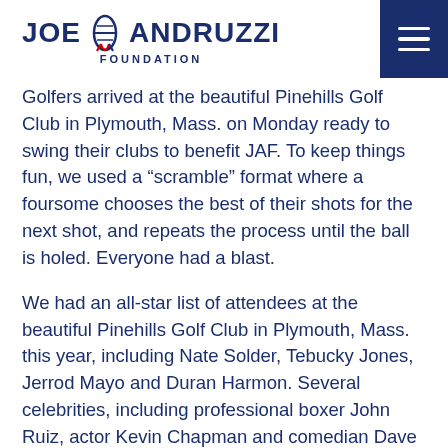JOE ANDRUZZI FOUNDATION
Golfers arrived at the beautiful Pinehills Golf Club in Plymouth, Mass. on Monday ready to swing their clubs to benefit JAF. To keep things fun, we used a “scramble” format where a foursome chooses the best of their shots for the next shot, and repeats the process until the ball is holed. Everyone had a blast.
We had an all-star list of attendees at the beautiful Pinehills Golf Club in Plymouth, Mass. this year, including Nate Solder, Tebucky Jones, Jerrod Mayo and Duran Harmon. Several celebrities, including professional boxer John Ruiz, actor Kevin Chapman and comedian Dave